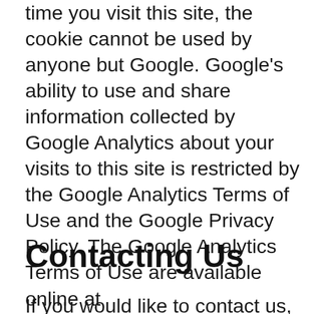time you visit this site, the cookie cannot be used by anyone but Google. Google's ability to use and share information collected by Google Analytics about your visits to this site is restricted by the Google Analytics Terms of Use and the Google Privacy Policy. The Google Analytics Terms of Use are available online at http://www.google.com/analytics/tos.html. The Google Privacy Policy is available online at http://www.google.com/privacypolicy.html. You can prevent Google Analytics from recognizing you on return visits to this site by disabling cookies on your browser.
Contacting Us
If you would like to contact us, you can do so at...